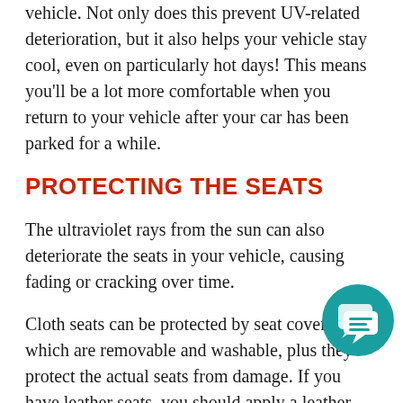vehicle. Not only does this prevent UV-related deterioration, but it also helps your vehicle stay cool, even on particularly hot days! This means you'll be a lot more comfortable when you return to your vehicle after your car has been parked for a while.
PROTECTING THE SEATS
The ultraviolet rays from the sun can also deteriorate the seats in your vehicle, causing fading or cracking over time.
Cloth seats can be protected by seat covers, which are removable and washable, plus they protect the actual seats from damage. If you have leather seats, you should apply a leather protectant once a year to maintain the leather's shine and luster. This will help protect the seats from the sun and other elements that
[Figure (illustration): Teal/dark cyan circular chat icon with two overlapping speech bubbles containing lines, positioned in the lower right area of the page]